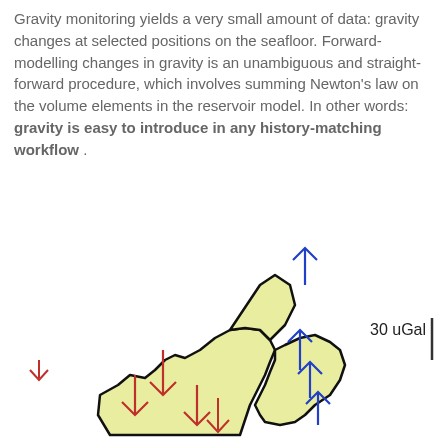Gravity monitoring yields a very small amount of data: gravity changes at selected positions on the seafloor. Forward-modelling changes in gravity is an unambiguous and straight-forward procedure, which involves summing Newton's law on the volume elements in the reservoir model. In other words: gravity is easy to introduce in any history-matching workflow .
[Figure (illustration): Map showing gravity monitoring positions on a seafloor reservoir outline (yellowish irregular shapes outlined in black). Several red downward-pointing arrows and blue upward-pointing arrows of varying sizes are placed at measurement positions on and around the reservoir. A scale bar labeled '30 uGal' with a vertical line is shown to the right.]